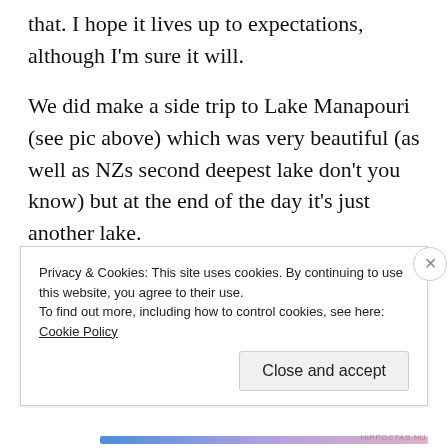that. I hope it lives up to expectations, although I'm sure it will.
We did make a side trip to Lake Manapouri (see pic above) which was very beautiful (as well as NZs second deepest lake don't you know) but at the end of the day it's just another lake.
Now I'm back writing this I can tell you dear readers that the Shotover Jetboat ride was fantastic, and regardless of what Amanda tells
Privacy & Cookies: This site uses cookies. By continuing to use this website, you agree to their use.
To find out more, including how to control cookies, see here: Cookie Policy